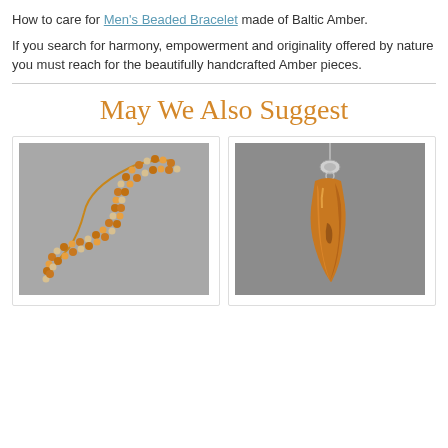How to care for Men's Beaded Bracelet made of Baltic Amber.
If you search for harmony, empowerment and originality offered by nature you must reach for the beautifully handcrafted Amber pieces.
May We Also Suggest
[Figure (photo): An amber beaded necklace arranged in an S-shape on a gray background, featuring alternating orange/brown and cream colored beads]
[Figure (photo): An amber pendant in a tooth/claw shape with a silver bail on a silver chain, displayed on a gray background]